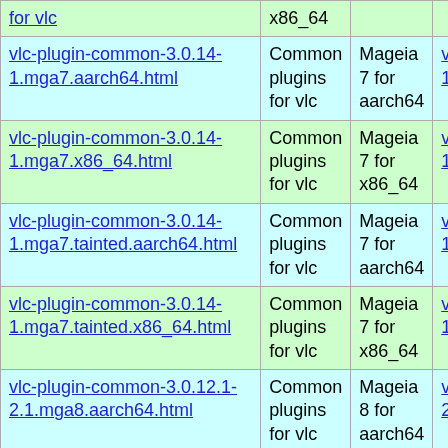| Package | Description | Distro | Related |
| --- | --- | --- | --- |
| vlc-plugin-common-3.0.14-1.mga7.aarch64.html | Common plugins for vlc | Mageia 7 for aarch64 | vlc-plugin-comm 1.mga7.aarch64.r |
| vlc-plugin-common-3.0.14-1.mga7.x86_64.html | Common plugins for vlc | Mageia 7 for x86_64 | vlc-plugin-comm 1.mga7.x86_64.rp |
| vlc-plugin-common-3.0.14-1.mga7.tainted.aarch64.html | Common plugins for vlc | Mageia 7 for aarch64 | vlc-plugin-comm 1.mga7.tainted.aa |
| vlc-plugin-common-3.0.14-1.mga7.tainted.x86_64.html | Common plugins for vlc | Mageia 7 for x86_64 | vlc-plugin-comm 1.mga7.tainted.x8 |
| vlc-plugin-common-3.0.12.1-2.1.mga8.aarch64.html | Common plugins for vlc | Mageia 8 for aarch64 | vlc-plugin-comm 2.1.mga8.aarch64 |
| vlc-plugin-common-3.0.12.1-2.1.mga8.x86_64.html | Common plugins for vlc | Mageia 8 for x86_64 | vlc-plugin-comm 2.1.mga8.x86_64 |
| vlc-plugin-common-3.0.12.1-2.1.mga8.tainted.aarch64.html | Common plugins for vlc | Mageia 8 for aarch64 | vlc-plugin-comm 2.1.mga8.tainted. |
| vlc-plugin-common-3.0.12.1-2.1.mga8.tainted.x86_64.html | Common plugins for vlc | Mageia 8 for x86_64 | vlc-plugin-comm 2.1.mga8.tainted. |